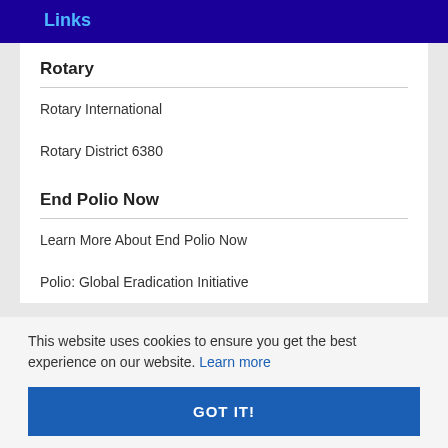Links
Rotary
Rotary International
Rotary District 6380
End Polio Now
Learn More About End Polio Now
Polio: Global Eradication Initiative
This website uses cookies to ensure you get the best experience on our website. Learn more
GOT IT!